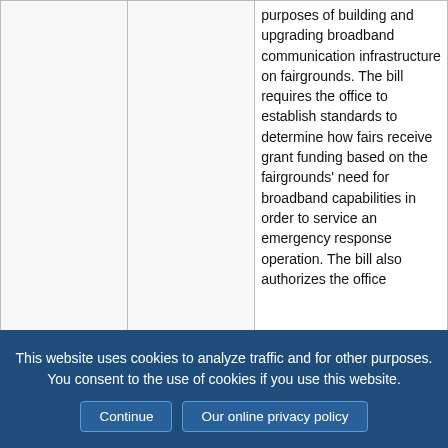|  |  | purposes of building and upgrading broadband communication infrastructure on fairgrounds. The bill requires the office to establish standards to determine how fairs receive grant funding based on the fairgrounds' need for broadband capabilities in order to service an emergency response operation. The bill also authorizes the office |
This website uses cookies to analyze traffic and for other purposes. You consent to the use of cookies if you use this website.